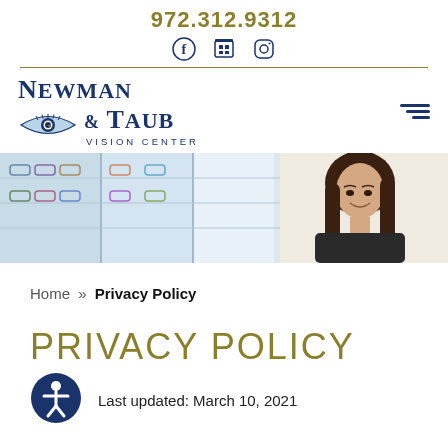972.312.9312
[Figure (logo): Social media icons: Facebook, store/Google, Instagram]
[Figure (logo): Newman & Taub Vision Center logo with eye graphic]
[Figure (photo): Woman smiling in an optical store with eyeglass frames on display shelves behind her]
Home » Privacy Policy
PRIVACY POLICY
Last updated: March 10, 2021